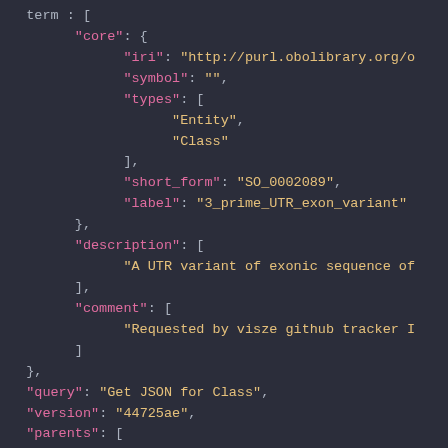JSON code snippet showing fields: term.core with iri, symbol, types (Entity, Class), short_form: SO_0002089, label: 3_prime_UTR_exon_variant; description: A UTR variant of exonic sequence of; comment: Requested by visze github tracker I; then query: Get JSON for Class, version: 44725ae, parents: [ {